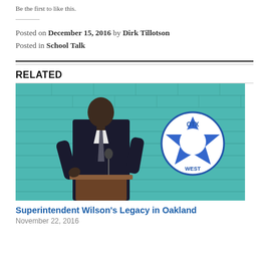Be the first to like this.
Posted on December 15, 2016 by Dirk Tillotson
Posted in School Talk
RELATED
[Figure (photo): A man in a dark suit speaking at a podium with a microphone, in front of a teal/turquoise brick wall with a blue and white star-shaped logo reading 'OTX WEST']
Superintendent Wilson's Legacy in Oakland
November 22, 2016